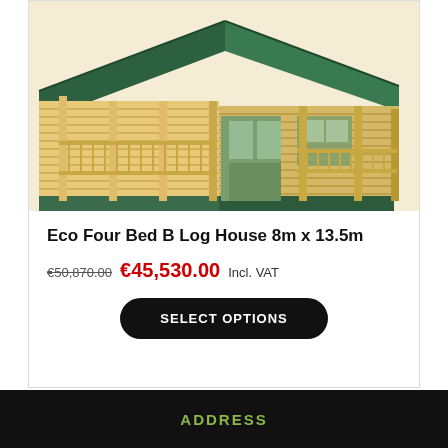[Figure (illustration): 3D rendering of an Eco Four Bed B Log House showing wooden log cabin exterior with green roof, covered porch with railings, and large windows.]
Eco Four Bed B Log House 8m x 13.5m
€50,870.00 €45,530.00 Incl. VAT
SELECT OPTIONS
ADDRESS